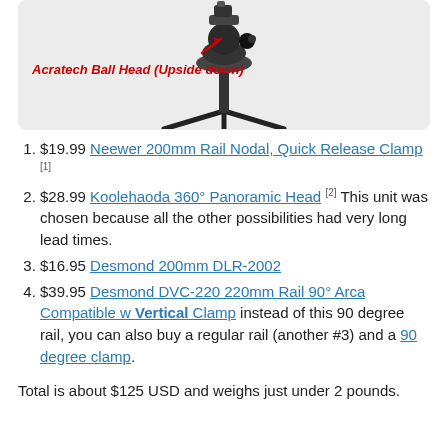[Figure (photo): Photograph of an Acratech Ball Head mounted upside down on a tripod/rail system. A red arrow and red italic bold label reads 'Acratech Ball Head (Upside down)'.]
$19.99 Neewer 200mm Rail Nodal, Quick Release Clamp [1]
$28.99 Koolehaoda 360° Panoramic Head [2] This unit was chosen because all the other possibilities had very long lead times.
$16.95 Desmond 200mm DLR-2002
$39.95 Desmond DVC-220 220mm Rail 90° Arca Compatible w Vertical Clamp instead of this 90 degree rail, you can also buy a regular rail (another #3) and a 90 degree clamp.
Total is about $125 USD and weighs just under 2 pounds.